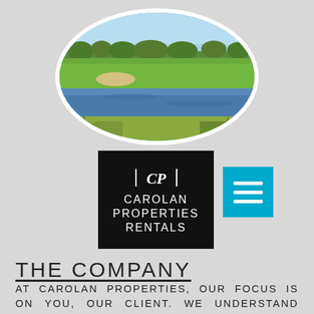[Figure (photo): Oval-framed aerial photo of a golf course with water hazard, green fairways, trees, and blue sky]
[Figure (logo): Carolan Properties Rentals logo: black square with stylized CP monogram icon and white text reading CAROLAN PROPERTIES RENTALS]
[Figure (other): Cyan/teal square hamburger menu button with three white horizontal lines]
THE COMPANY
AT CAROLAN PROPERTIES, OUR FOCUS IS ON YOU, OUR CLIENT. WE UNDERSTAND THAT EACH CLIENT HAS A UNIQUE